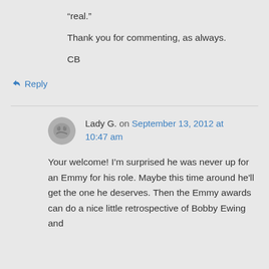“real.”
Thank you for commenting, as always.
CB
↳ Reply
Lady G. on September 13, 2012 at 10:47 am
Your welcome! I’m surprised he was never up for an Emmy for his role. Maybe this time around he'll get the one he deserves. Then the Emmy awards can do a nice little retrospective of Bobby Ewing and